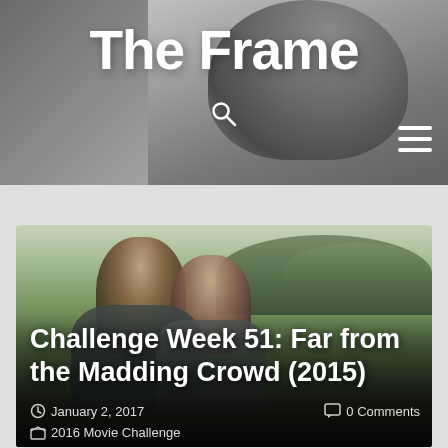The Frame
[Figure (screenshot): Blog header image with black and white photo of a woman and site title 'The Frame' with search and menu icons]
[Figure (photo): Movie still from Far from the Madding Crowd (2015) showing two people outdoors in a field with trees in background]
Challenge Week 51: Far from the Madding Crowd (2015)
January 2, 2017
0 Comments
2016 Movie Challenge